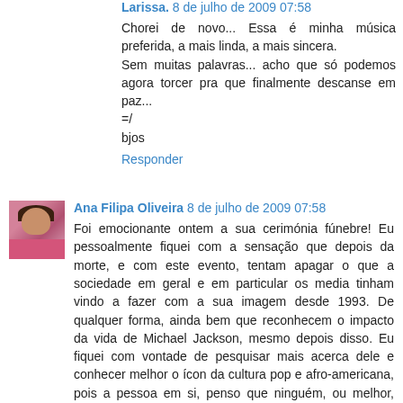Larissa. 8 de julho de 2009 07:58
Chorei de novo... Essa é minha música preferida, a mais linda, a mais sincera.
Sem muitas palavras... acho que só podemos agora torcer pra que finalmente descanse em paz...
=/
bjos
Responder
Ana Filipa Oliveira 8 de julho de 2009 07:58
Foi emocionante ontem a sua cerimónia fúnebre! Eu pessoalmente fiquei com a sensação que depois da morte, e com este evento, tentam apagar o que a sociedade em geral e em particular os media tinham vindo a fazer com a sua imagem desde 1993. De qualquer forma, ainda bem que reconhecem o impacto da vida de Michael Jackson, mesmo depois disso. Eu fiquei com vontade de pesquisar mais acerca dele e conhecer melhor o ícon da cultura pop e afro-americana, pois a pessoa em si, penso que ninguém, ou melhor, nenhum de nós realmente poderá conhecer.